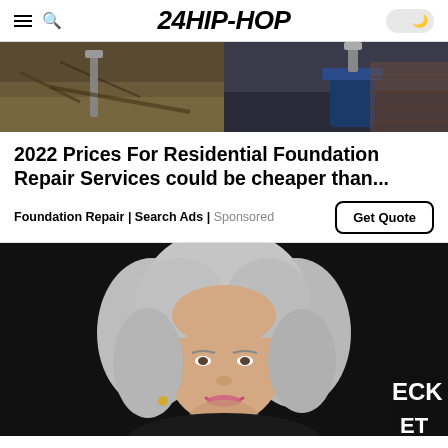24HIP-HOP
[Figure (photo): Construction/foundation repair photo showing soil excavation on left and a hydraulic jack on right]
2022 Prices For Residential Foundation Repair Services could be cheaper than...
Foundation Repair | Search Ads | Sponsored
[Figure (photo): Elderly woman with grey hair smiling against dark background, partial text 'ECK ET' visible on right side]